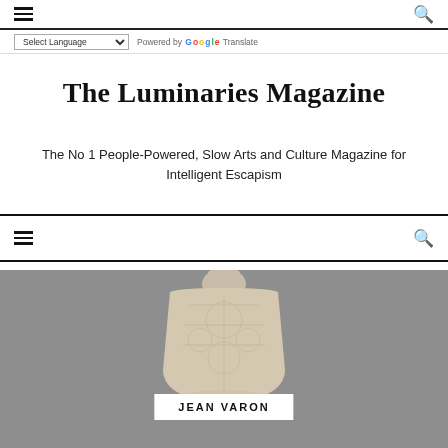☰ [hamburger menu] 🔍 [search icon]
Select Language | Powered by Google Translate
The Luminaries Magazine
The No 1 People-Powered, Slow Arts and Culture Magazine for Intelligent Escapism
☰ [hamburger menu] 🔍 [search icon]
[Figure (photo): A cream/ivory embellished dress or top displayed on a mannequin against a grey background, with a white label overlay reading JEAN VARON]